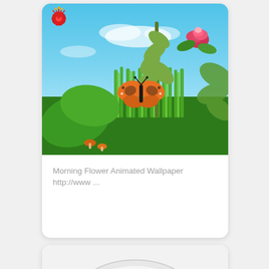[Figure (photo): 3D animated garden scene with green grass, large leaves, orange monarch butterfly, red flowers (hibiscus top-left, rose top-right), eucalyptus-like shrub, blue sky with clouds, and small orange mushrooms at bottom.]
Morning Flower Animated Wallpaper http://www ...
[Figure (photo): Partial view of a white plate with purple and yellow food items, partially cropped at the bottom of the page.]